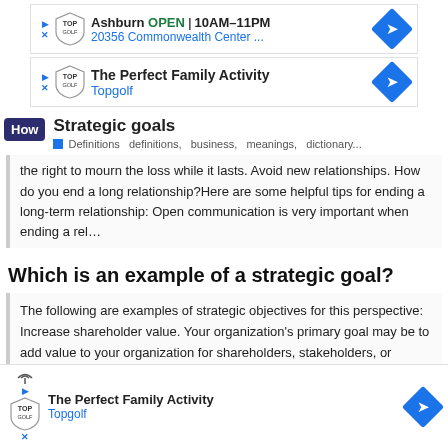[Figure (screenshot): Topgolf ad banner: Ashburn OPEN 10AM-11PM, 20356 Commonwealth Center..., with logo and arrow]
[Figure (screenshot): Topgolf ad banner: The Perfect Family Activity, Topgolf, with logo and arrow]
Strategic goals
Definitions definitions, business, meanings, dictionary...
the right to mourn the loss while it lasts. Avoid new relationships. How do you end a long relationship?Here are some helpful tips for ending a long-term relationship: Open communication is very important when ending a rel...
Which is an example of a strategic goal?
The following are examples of strategic objectives for this perspective: Increase shareholder value. Your organization's primary goal may be to add value to your organization for shareholders, stakeholders, or owners. The value can be defined... Incre...
[Figure (screenshot): Topgolf ad banner bottom overlay: The Perfect Family Activity, Topgolf]